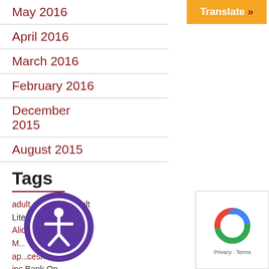[Figure (other): Orange Translate button with double right arrow]
May 2016
April 2016
March 2016
February 2016
December 2015
August 2015
Tags
adult education Adult Literacy Initiative Alica Sasser M... ap...cesh ips Bank On
[Figure (other): Accessibility widget - purple circle with person icon]
[Figure (other): reCAPTCHA box - Privacy Terms]